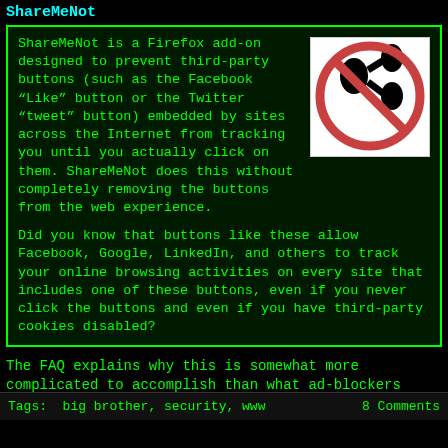ShareMeNot
ShareMeNot is a Firefox add-on designed to prevent third-party buttons (such as the Facebook “Like” button or the Twitter “tweet” button) embedded by sites across the Internet from tracking you until you actually click on them. ShareMeNot does this without completely removing the buttons from the web experience.

Did you know that buttons like these allow Facebook, Google, LinkedIn, and others to track your online browsing activities on every site that includes one of these buttons, even if you never click the buttons and even if you have third-party cookies disabled?
[Figure (logo): A no-symbol (circle with diagonal bar) over a social sharing icon, in red/black on white background]
The FAQ explains why this is somewhat more complicated to accomplish than what ad-blockers generally do.
I wish there was a Safari version.
Tags:  big brother, security, www	8 Comments